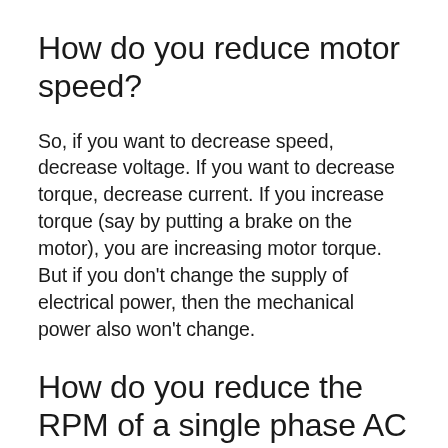How do you reduce motor speed?
So, if you want to decrease speed, decrease voltage. If you want to decrease torque, decrease current. If you increase torque (say by putting a brake on the motor), you are increasing motor torque. But if you don’t change the supply of electrical power, then the mechanical power also won’t change.
How do you reduce the RPM of a single phase AC motor?
Speed of Single phase motor can be controlled in different ways: